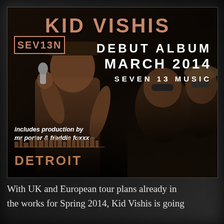[Figure (photo): Hip-hop promotional image for Kid Vishis debut album 'SEV13N'. Shows a rapper performing into a microphone on the left and two people in the background on the right. Text overlay includes 'KID VISHIS', 'SEV13N', 'DEBUT ALBUM', 'MARCH 2014', 'SEVEN 13 MUSIC', 'includes production by mr porter & freddie foxxx', and 'DETROIT' in stylized fonts against a dark background.]
With UK and European tour plans already in the works for Spring 2014, Kid Vishis is going